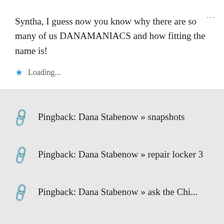Syntha, I guess now you know why there are so many of us DANAMANIACS and how fitting the name is!
Loading...
Pingback: Dana Stabenow » snapshots
Pingback: Dana Stabenow » repair locker 3
Pingback: Dana Stabenow » ask the Chi...